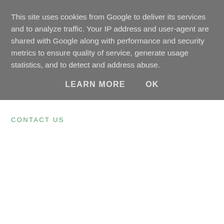This site uses cookies from Google to deliver its services and to analyze traffic. Your IP address and user-agent are shared with Google along with performance and security metrics to ensure quality of service, generate usage statistics, and to detect and address abuse.
LEARN MORE   OK
CONTACT US